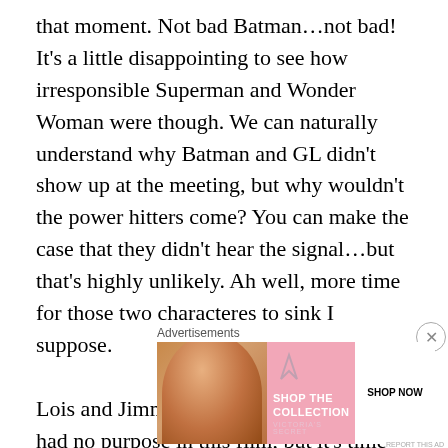that moment. Not bad Batman…not bad! It's a little disappointing to see how irresponsible Superman and Wonder Woman were though. We can naturally understand why Batman and GL didn't show up at the meeting, but why wouldn't the power hitters come? You can make the case that they didn't hear the signal…but that's highly unlikely. Ah well, more time for those two characteres to sink I suppose.

Lois and Jimmy were two characters who had no purpose in this film, but it's time for the review to start winding down. Ultimately, the film was just plagued with too many negatives for me to really call it a good film. Take away the Justice League and it's probably a bad film. The iconic
Advertisements
[Figure (other): Victoria's Secret advertisement banner with a model on the left and pink background. Text reads 'SHOP THE COLLECTION' with a 'SHOP NOW' button. Victoria's Secret logo visible.]